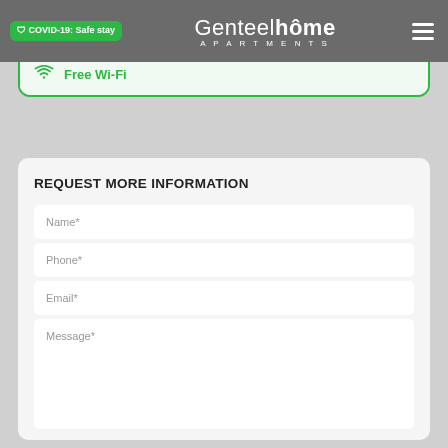COVID-19: Safe stay | Genteelhôme Apartments
Best price guaranteed
Free Wi-Fi
REQUEST MORE INFORMATION
Name*
Phone*
Email*
Message*